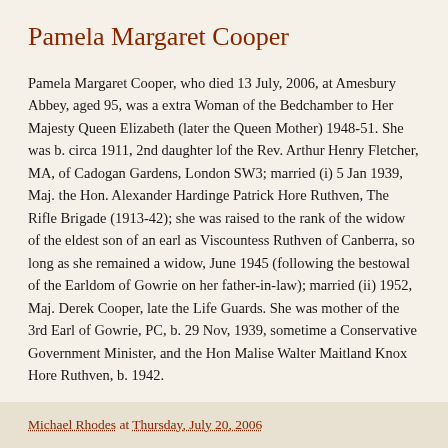Pamela Margaret Cooper
Pamela Margaret Cooper, who died 13 July, 2006, at Amesbury Abbey, aged 95, was a extra Woman of the Bedchamber to Her Majesty Queen Elizabeth (later the Queen Mother) 1948-51. She was b. circa 1911, 2nd daughter lof the Rev. Arthur Henry Fletcher, MA, of Cadogan Gardens, London SW3; married (i) 5 Jan 1939, Maj. the Hon. Alexander Hardinge Patrick Hore Ruthven, The Rifle Brigade (1913-42); she was raised to the rank of the widow of the eldest son of an earl as Viscountess Ruthven of Canberra, so long as she remained a widow, June 1945 (following the bestowal of the Earldom of Gowrie on her father-in-law); married (ii) 1952, Maj. Derek Cooper, late the Life Guards. She was mother of the 3rd Earl of Gowrie, PC, b. 29 Nov, 1939, sometime a Conservative Government Minister, and the Hon Malise Walter Maitland Knox Hore Ruthven, b. 1942.
Source: Daily Telegraph 17 July, 2006
Michael Rhodes at Thursday, July 20, 2006